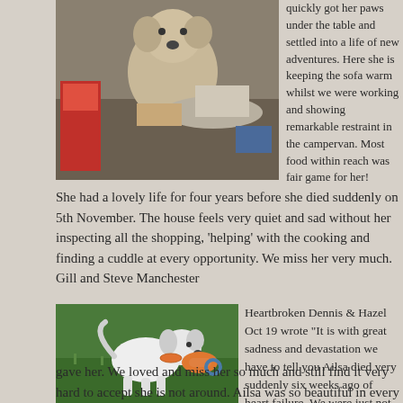[Figure (photo): Dog on table near food items in what appears to be a campervan setting]
quickly got her paws under the table and settled into a life of new adventures. Here she is keeping the sofa warm whilst we were working and showing remarkable restraint in the campervan. Most food within reach was fair game for her!
She had a lovely life for four years before she died suddenly on 5th November. The house feels very quiet and sad without her inspecting all the shopping, 'helping' with the cooking and finding a cuddle at every opportunity. We miss her very much. Gill and Steve Manchester
[Figure (photo): White dog running on grass carrying an orange toy]
Heartbroken Dennis & Hazel Oct 19 wrote "It is with great sadness and devastation we have to tell you Ailsa died very suddenly six weeks ago of heart failure. We were just not expecting her to go so soon. She was alsways so brave, loving and full of mischief. She gave as much love and pleasure to us as we gave her. We loved and miss her so much and still find it very hard to accept she is not around. Ailsa was so beautiful in every